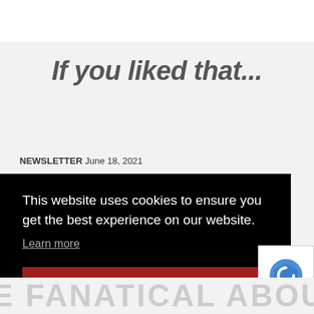If you liked that...
NEWSLETTER June 18, 2021
This website uses cookies to ensure you get the best experience on our website.
Learn more
Got it!
[Figure (other): reCAPTCHA logo with Privacy and Terms text]
BE FANATICAL ABOUT